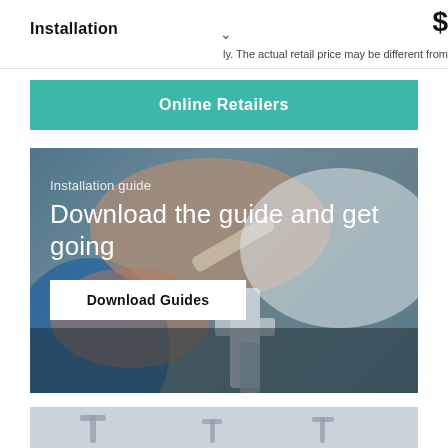Installation
ly. The actual retail price may be different from
$
Online Retailers
[Figure (photo): Close-up photo of hands installing a chrome faucet/tap fixture with a wrench. Overlaid text reads 'Installation guide' and 'Download the guide and get going' with a 'Download Guides' button.]
[Figure (photo): Partial view of bathroom faucets/taps in a sink setting, bottom strip of page.]